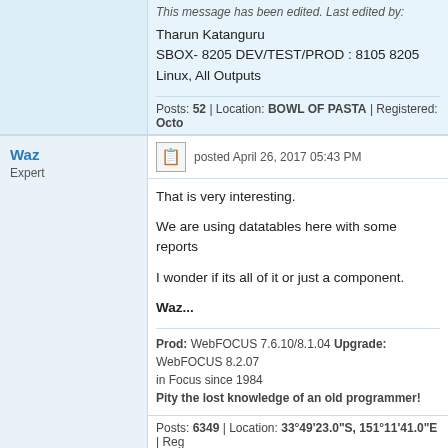This message has been edited. Last edited by:
Tharun Katanguru
SBOX- 8205 DEV/TEST/PROD : 8105 8205
Linux, All Outputs
Posts: 52 | Location: BOWL OF PASTA | Registered: Octo
Waz
Expert
posted April 26, 2017 05:43 PM
That is very interesting.

We are using datatables here with some reports

I wonder if its all of it or just a component.

Waz...
Prod: WebFOCUS 7.6.10/8.1.04 Upgrade: WebFOCUS 8.2.07
in Focus since 1984
Pity the lost knowledge of an old programmer!
Posts: 6349 | Location: 33°49'23.0"S, 151°11'41.0"E | Reg
FP Mod Chuck
Virtuoso
posted April 27, 2017 10:43 AM
Hi Tomatosauce

The beauty about D3 is that even though there not limited to the ones provided. Below is a help